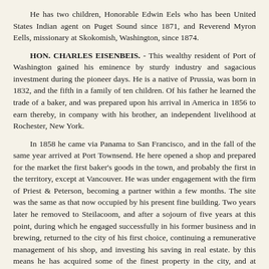He has two children, Honorable Edwin Eels who has been United States Indian agent on Puget Sound since 1871, and Reverend Myron Eells, missionary at Skokomish, Washington, since 1874.
HON. CHARLES EISENBEIS. - This wealthy resident of Port of Washington gained his eminence by sturdy industry and sagacious investment during the pioneer days. He is a native of Prussia, was born in 1832, and the fifth in a family of ten children. Of his father he learned the trade of a baker, and was prepared upon his arrival in America in 1856 to earn thereby, in company with his brother, an independent livelihood at Rochester, New York.
In 1858 he came via Panama to San Francisco, and in the fall of the same year arrived at Port Townsend. He here opened a shop and prepared for the market the first baker's goods in the town, and probably the first in the territory, except at Vancouver. He was under engagement with the firm of Priest & Peterson, becoming a partner within a few months. The site was the same as that now occupied by his present fine building. Two years later he removed to Steilacoom, and after a sojourn of five years at this point, during which he engaged successfully in his former business and in brewing, returned to the city of his first choice, continuing a remunerative management of his shop, and investing his saving in real estate. by this means he has acquired some of the finest property in the city, and at Seattle has been very successful in that line.
Mr. Eisenbeis has served the city as mayor three terms, being the first to hold that office. He was also the first city treasurer. Three terms he has been a member of the Washington board of health.